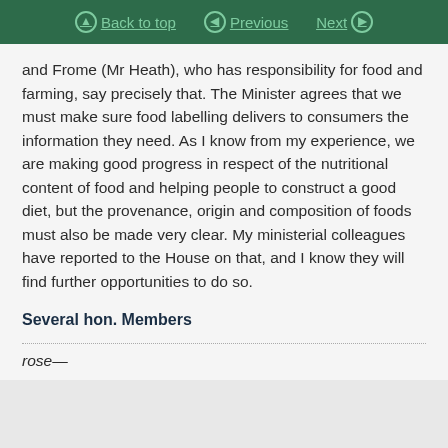Back to top  Previous  Next
and Frome (Mr Heath), who has responsibility for food and farming, say precisely that. The Minister agrees that we must make sure food labelling delivers to consumers the information they need. As I know from my experience, we are making good progress in respect of the nutritional content of food and helping people to construct a good diet, but the provenance, origin and composition of foods must also be made very clear. My ministerial colleagues have reported to the House on that, and I know they will find further opportunities to do so.
Several hon. Members
rose—